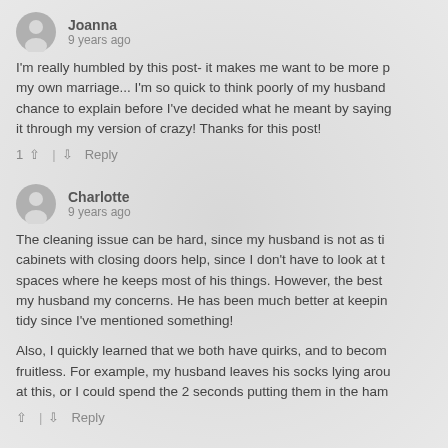Joanna
9 years ago
I'm really humbled by this post- it makes me want to be more p... my own marriage... I'm so quick to think poorly of my husband... chance to explain before I've decided what he meant by saying... it through my version of crazy! Thanks for this post!
1 ^ | v Reply
Charlotte
9 years ago
The cleaning issue can be hard, since my husband is not as ti... cabinets with closing doors help, since I don't have to look at t... spaces where he keeps most of his things. However, the best ... my husband my concerns. He has been much better at keepin... tidy since I've mentioned something!
Also, I quickly learned that we both have quirks, and to becom... fruitless. For example, my husband leaves his socks lying arou... at this, or I could spend the 2 seconds putting them in the ham...
^ | v Reply